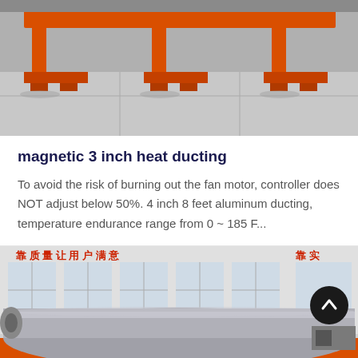[Figure (photo): Industrial orange-painted equipment (magnetic separator frame) on a factory floor, photographed from below showing metal structure and legs against a gray concrete floor.]
magnetic 3 inch heat ducting
To avoid the risk of burning out the fan motor, controller does NOT adjust below 50%. 4 inch 8 feet aluminum ducting, temperature endurance range from 0 ~ 185 F...
[Figure (photo): Large industrial magnetic separator with a silver cylindrical drum mounted on an orange steel frame, photographed in front of a factory building with Chinese text signage reading '靠质量让用户满意'. A dark circular scroll-to-top button is overlaid on the top-right corner of the image.]